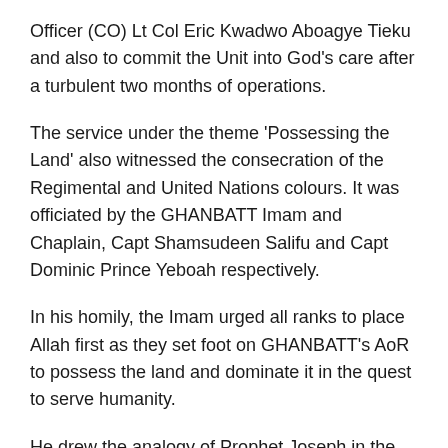Officer (CO) Lt Col Eric Kwadwo Aboagye Tieku and also to commit the Unit into God's care after a turbulent two months of operations.
The service under the theme 'Possessing the Land' also witnessed the consecration of the Regimental and United Nations colours. It was officiated by the GHANBATT Imam and Chaplain, Capt Shamsudeen Salifu and Capt Dominic Prince Yeboah respectively.
In his homily, the Imam urged all ranks to place Allah first as they set foot on GHANBATT's AoR to possess the land and dominate it in the quest to serve humanity.
He drew the analogy of Prophet Joseph in the Quran from his humble beginnings to his servitude in Egypt and ultimately rising through Allah's blessing to take possession of Egypt